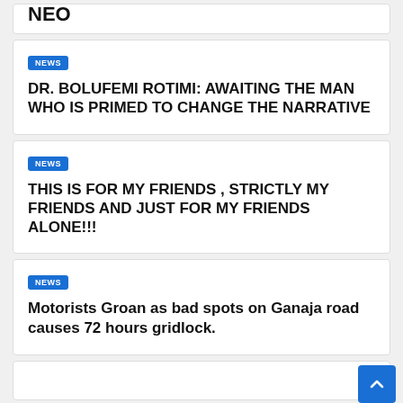NEO
NEWS
DR. BOLUFEMI ROTIMI: AWAITING THE MAN WHO IS PRIMED TO CHANGE THE NARRATIVE
NEWS
THIS IS FOR MY FRIENDS , STRICTLY MY FRIENDS AND JUST FOR MY FRIENDS ALONE!!!
NEWS
Motorists Groan as bad spots on Ganaja road causes 72 hours gridlock.